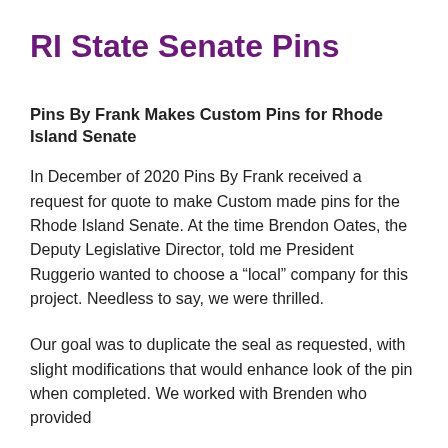RI State Senate Pins
Pins By Frank Makes Custom Pins for Rhode Island Senate
In December of 2020 Pins By Frank received a request for quote to make Custom made pins for the Rhode Island Senate. At the time Brendon Oates, the Deputy Legislative Director, told me President Ruggerio wanted to choose a “local” company for this project. Needless to say, we were thrilled.
Our goal was to duplicate the seal as requested, with slight modifications that would enhance look of the pin when completed. We worked with Brenden who provided